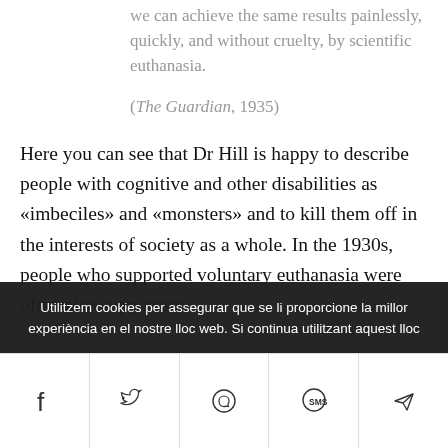we can achieve the same results painlessly, quickly, and without cruelty, by scientific euthanasia.
(The Guardian, 1935)
Here you can see that Dr Hill is happy to describe people with cognitive and other disabilities as «imbeciles» and «monsters» and to kill them off in the interests of society as a whole. In the 1930s, people who supported voluntary euthanasia were often also supporters
Utilitzem cookies per assegurar que se li proporcione la millor experiència en el nostre lloc web. Si continua utilitzant aquest lloc
[Figure (other): Social media share bar with Facebook, Twitter, WhatsApp, SMS, and send/email icons]